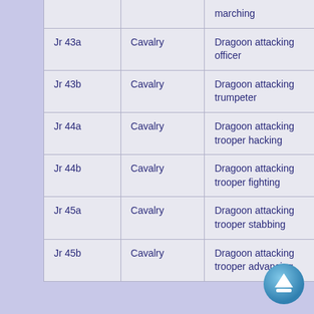| ID | Category | Description |
| --- | --- | --- |
|  |  | marching |
| Jr 43a | Cavalry | Dragoon attacking officer |
| Jr 43b | Cavalry | Dragoon attacking trumpeter |
| Jr 44a | Cavalry | Dragoon attacking trooper hacking |
| Jr 44b | Cavalry | Dragoon attacking trooper fighting |
| Jr 45a | Cavalry | Dragoon attacking trooper stabbing |
| Jr 45b | Cavalry | Dragoon attacking trooper advancing |